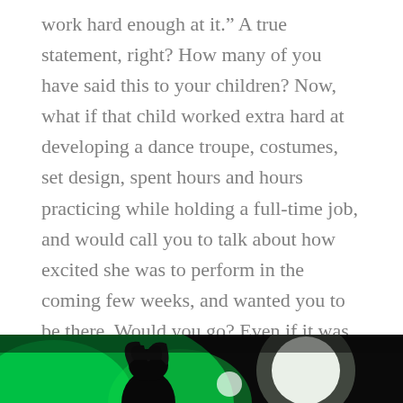work hard enough at it.” A true statement, right? How many of you have said this to your children? Now, what if that child worked extra hard at developing a dance troupe, costumes, set design, spent hours and hours practicing while holding a full-time job, and would call you to talk about how excited she was to perform in the coming few weeks, and wanted you to be there. Would you go? Even if it was burlesque?
[Figure (photo): Dark stage performance photo with green lighting, silhouette of a performer with elaborate hair/headpiece visible against bright green and white stage lights]